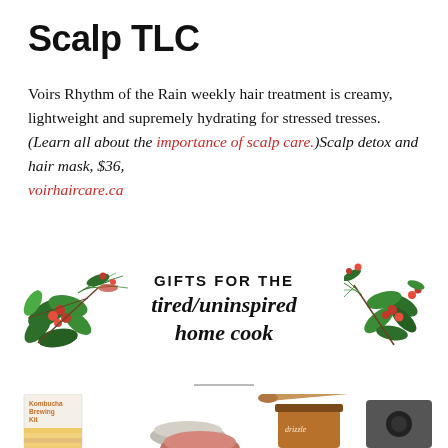Scalp TLC
Voirs Rhythm of the Rain weekly hair treatment is creamy, lightweight and supremely hydrating for stressed tresses. (Learn all about the importance of scalp care.)Scalp detox and hair mask, $36, voirhaircare.ca
[Figure (illustration): Holiday floral/botanical decoration on the left side]
GIFTS FOR THE tired/uninspired home cook
[Figure (illustration): Holiday floral/botanical decoration on the right side]
[Figure (photo): Product photos: Kombucha Brewing Kit box, gray and rose-colored bowls/plates, a jar of Drizzle honey with wooden spoon, and a dark gray kitchen appliance]